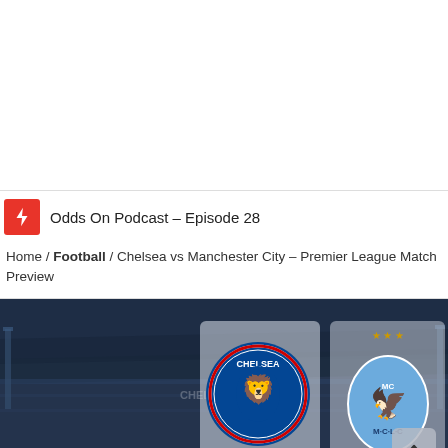[Figure (other): White advertisement/empty space at the top of the page]
Odds On Podcast – Episode 28
Home / Football / Chelsea vs Manchester City – Premier League Match Preview
[Figure (photo): Football stadium banner image showing Chelsea and Manchester City badges side by side on a dark stadium background]